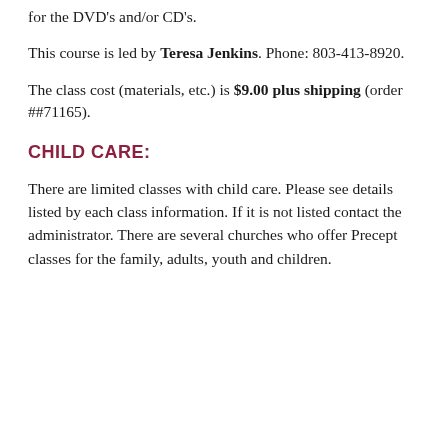for the DVD's and/or CD's.
This course is led by Teresa Jenkins. Phone: 803-413-8920.
The class cost (materials, etc.) is $9.00 plus shipping (order ##71165).
CHILD CARE:
There are limited classes with child care. Please see details listed by each class information. If it is not listed contact the administrator. There are several churches who offer Precept classes for the family, adults, youth and children.